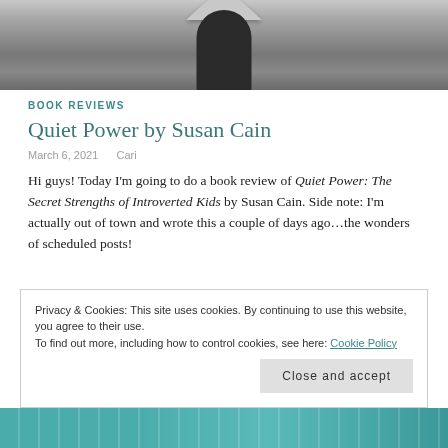[Figure (photo): Black and white photo of a person wearing a large wide-brimmed hat, viewed from behind, standing outdoors]
BOOK REVIEWS
Quiet Power by Susan Cain
March 6, 2021   Cari
Hi guys! Today I'm going to do a book review of Quiet Power: The Secret Strengths of Introverted Kids by Susan Cain. Side note: I'm actually out of town and wrote this a couple of days ago…the wonders of scheduled posts!
Privacy & Cookies: This site uses cookies. By continuing to use this website, you agree to their use.
To find out more, including how to control cookies, see here: Cookie Policy
Close and accept
[Figure (illustration): Colorful book cover illustration visible at the very bottom of the page]